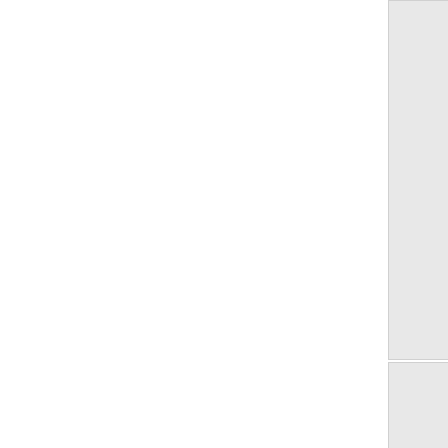[Figure (screenshot): File manager / icon browser showing coffee icon files in a grid. Row 1 (partial): coffee_16... (16x16, 2010/05/11 09:13, 1.1 KB), coffee_24... (24x24, 2010/05/11 09:13, 1.9 KB), and a third partially visible. Row 2: coffee_48... with blue coffee cup icon (48x48, 2010/05/11 09:13, 5.1 KB), coffee_12... with broken image placeholder labeled food:coffee_128.png (128x128, 2010/05/11 09:13, 21.1 KB), and a third partially visible. Row 3 (partial): two tiles with small grayscale mug icons and a third partially visible.]